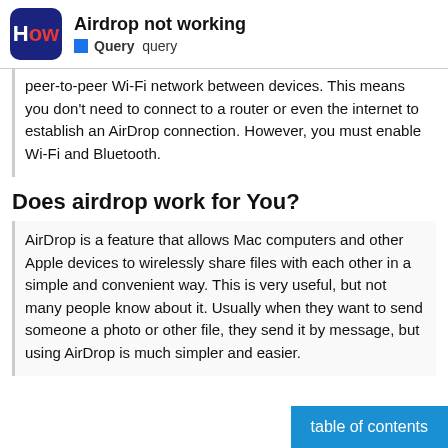Airdrop not working — Query query
peer-to-peer Wi-Fi network between devices. This means you don't need to connect to a router or even the internet to establish an AirDrop connection. However, you must enable Wi-Fi and Bluetooth.
Does airdrop work for You?
AirDrop is a feature that allows Mac computers and other Apple devices to wirelessly share files with each other in a simple and convenient way. This is very useful, but not many people know about it. Usually when they want to send someone a photo or other file, they send it by message, but using AirDrop is much simpler and easier.
table of contents